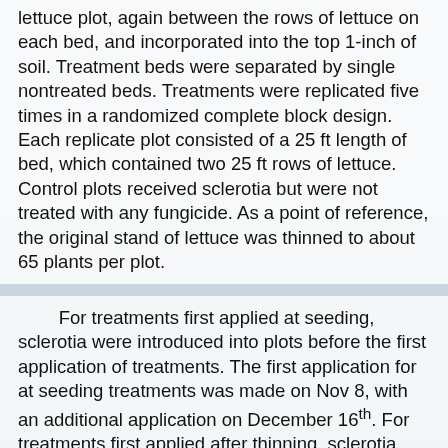lettuce plot, again between the rows of lettuce on each bed, and incorporated into the top 1-inch of soil. Treatment beds were separated by single nontreated beds. Treatments were replicated five times in a randomized complete block design. Each replicate plot consisted of a 25 ft length of bed, which contained two 25 ft rows of lettuce. Control plots received sclerotia but were not treated with any fungicide. As a point of reference, the original stand of lettuce was thinned to about 65 plants per plot.
For treatments first applied at seeding, sclerotia were introduced into plots before the first application of treatments. The first application for at seeding treatments was made on Nov 8, with an additional application on December 16th. For treatments first applied after thinning, sclerotia were introduced into plots after thinning before the first application of these treatments, with additional applications as noted in the data sheets. An initial